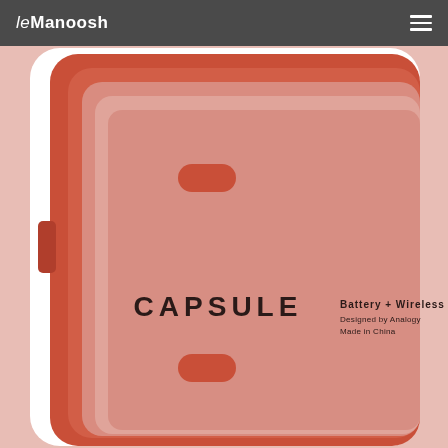leManoosh
[Figure (photo): Close-up top-down view of a coral/terracotta colored rectangular device labeled 'CAPSULE' with text 'Battery + Wireless' and 'Designed by Analogy, Made in China' on a light pink background, showing two rounded bump features on the surface.]